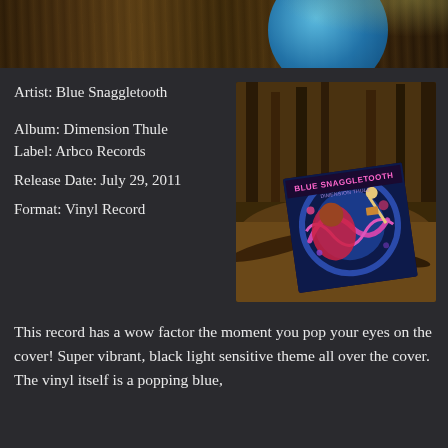[Figure (photo): Top cropped photo showing trees and a blue vinyl record partially visible]
[Figure (photo): Album cover of Blue Snaggletooth - Dimension Thule on a blue vinyl record lying in a forest setting with sticks and leaves]
Artist: Blue Snaggletooth
Album: Dimension Thule
Label: Arbco Records
Release Date: July 29, 2011
Format: Vinyl Record
This record has a wow factor the moment you pop your eyes on the cover! Super vibrant, black light sensitive theme all over the cover. The vinyl itself is a popping blue,